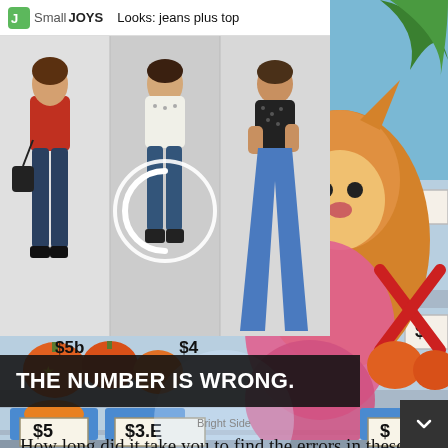SmallJOYS  Looks: jeans plus top
[Figure (photo): SmallJoys fashion collage showing three women wearing jeans and different tops: left in red top with ankle jeans, center in white top with cropped jeans (circle overlay on image), right in black patterned top with wide-leg jeans]
[Figure (illustration): Bright Side colorful cartoon illustration of a grocery store/market scene with animated characters, price tags showing $5 and $3.E (wrong number puzzle), pumpkins and produce on display shelves. Overlay text says THE NUMBER IS WRONG.]
Bright Side
How long did it take you to find the errors in these fun picture puzzles? Let us know in the commen